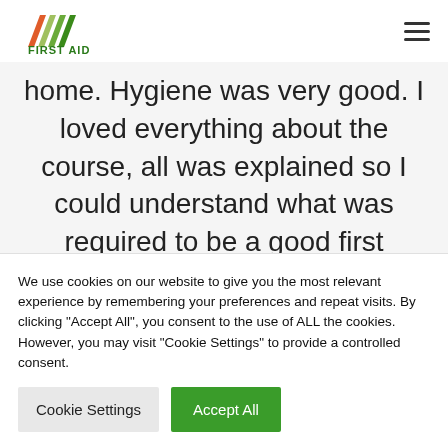[Figure (logo): First Aid at Work logo with orange and green arrow shapes and green text]
home. Hygiene was very good. I loved everything about the course, all was explained so I could understand what was required to be a good first
We use cookies on our website to give you the most relevant experience by remembering your preferences and repeat visits. By clicking "Accept All", you consent to the use of ALL the cookies. However, you may visit "Cookie Settings" to provide a controlled consent.